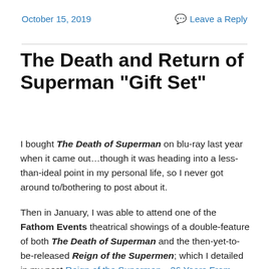October 15, 2019
Leave a Reply
The Death and Return of Superman "Gift Set"
I bought The Death of Superman on blu-ray last year when it came out…though it was heading into a less-than-ideal point in my personal life, so I never got around to/bothering to post about it.
Then in January, I was able to attend one of the Fathom Events theatrical showings of a double-feature of both The Death of Superman and the then-yet-to-be-released Reign of the Supermen; which I detailed in my post Reign of the Supermen…26 Years From Page to Screen.